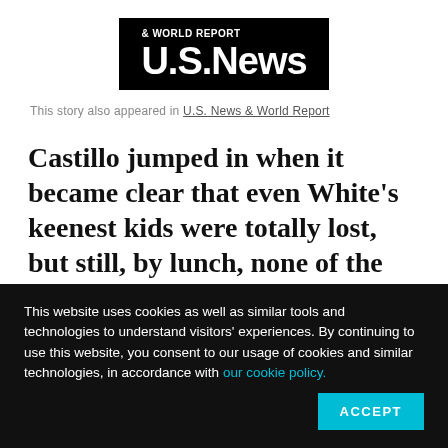[Figure (logo): U.S. News & World Report logo — white text on black rectangle]
This story also appeared in U.S. News & World Report
Castillo jumped in when it became clear that even White's keenest kids were totally lost, but still, by lunch, none of the first-graders had come up with a concluding sentence for their nascent paragraphs.
This website uses cookies as well as similar tools and technologies to understand visitors' experiences. By continuing to use this website, you consent to our usage of cookies and similar technologies, in accordance with our cookie policy.